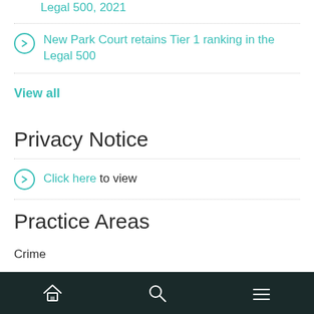Legal 500, 2021
New Park Court retains Tier 1 ranking in the Legal 500
View all
Privacy Notice
Click here to view
Practice Areas
Crime
Regulatory
Civil
Home | Search | Menu